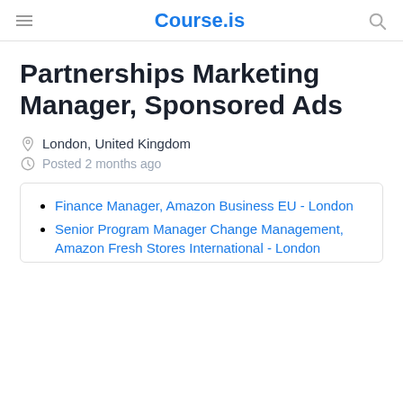Course.is
Partnerships Marketing Manager, Sponsored Ads
London, United Kingdom
Posted 2 months ago
Finance Manager, Amazon Business EU - London
Senior Program Manager Change Management, Amazon Fresh Stores International - London